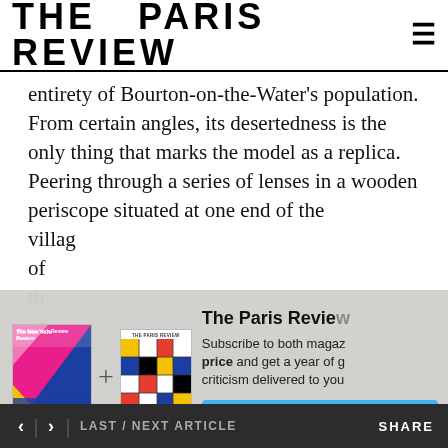THE PARIS REVIEW
entirety of Bourton-on-the-Water's population. From certain angles, its desertedness is the only thing that marks the model as a replica. Peering through a series of lenses in a wooden periscope situated at one end of the villag... of the... of pe... phot... scale... show... villag... in a c... twen... table... while other scenes evoke anachronistic forms of PG-13
[Figure (screenshot): Subscription modal overlay for The Paris Review showing two magazine covers (The New York Review and The Paris Review) with a plus sign between them, a subscription pitch text, and a blue 'Subscribe Now' button]
< > LAST / NEXT ARTICLE    SHARE